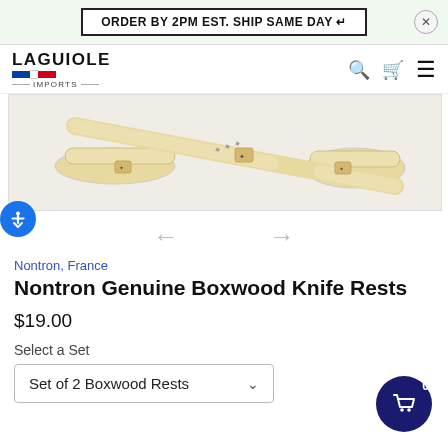ORDER BY 2PM EST. SHIP SAME DAY ↵
[Figure (logo): Laguiole Imports logo with French flag colors]
[Figure (photo): Nontron Genuine Boxwood Knife Rests product photo - ivory/cream colored knife rests on white background]
Nontron, France
Nontron Genuine Boxwood Knife Rests
$19.00
Select a Set
Set of 2 Boxwood Rests